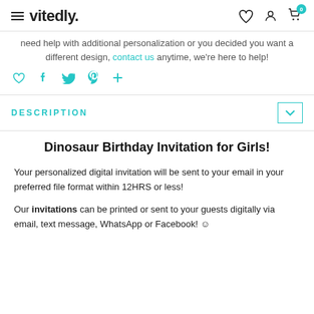vitedly.
need help with additional personalization or you decided you want a different design, contact us anytime, we're here to help!
[Figure (other): Social sharing icons: heart, Facebook, Twitter, Pinterest, plus]
DESCRIPTION
Dinosaur Birthday Invitation for Girls!
Your personalized digital invitation will be sent to your email in your preferred file format within 12HRS or less!
Our invitations can be printed or sent to your guests digitally via email, text message, WhatsApp or Facebook! ☺